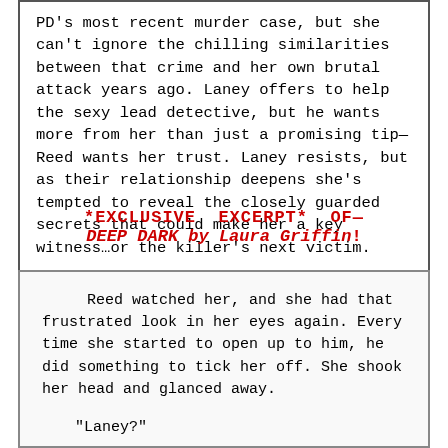PD's most recent murder case, but she can't ignore the chilling similarities between that crime and her own brutal attack years ago. Laney offers to help the sexy lead detective, but he wants more from her than just a promising tip—Reed wants her trust. Laney resists, but as their relationship deepens she's tempted to reveal the closely guarded secrets that could make her a key witness…or the killer's next victim.
*EXCLUSIVE EXCERPT* OF— DEEP DARK by Laura Griffin!
Reed watched her, and she had that frustrated look in her eyes again. Every time she started to open up to him, he did something to tick her off. She shook her head and glanced away.

"Laney?"

"What?"

"I'm a detective. It's my job to ask